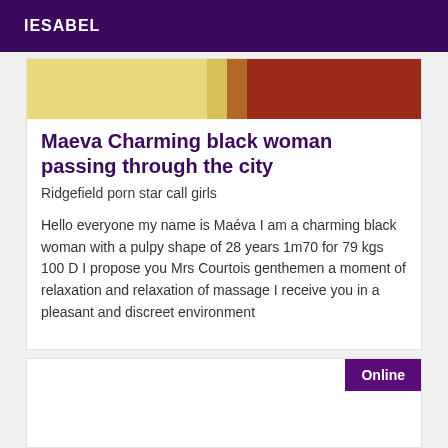IESABEL
[Figure (photo): Partial photo showing yellow and red tones, cropped view of a person]
Maeva Charming black woman passing through the city
Ridgefield porn star call girls
Hello everyone my name is Maéva I am a charming black woman with a pulpy shape of 28 years 1m70 for 79 kgs 100 D I propose you Mrs Courtois genthemen a moment of relaxation and relaxation of massage I receive you in a pleasant and discreet environment
Online